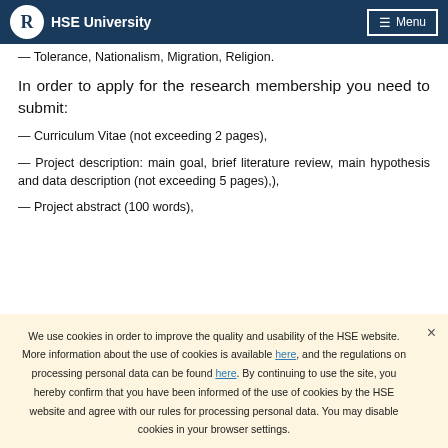HSE University  Menu
— Tolerance, Nationalism, Migration, Religion.
In order to apply for the research membership you need to submit:
— Curriculum Vitae (not exceeding 2 pages),
— Project description: main goal, brief literature review, main hypothesis and data description (not exceeding 5 pages),),
— Project abstract (100 words),
We use cookies in order to improve the quality and usability of the HSE website. More information about the use of cookies is available here, and the regulations on processing personal data can be found here. By continuing to use the site, you hereby confirm that you have been informed of the use of cookies by the HSE website and agree with our rules for processing personal data. You may disable cookies in your browser settings.